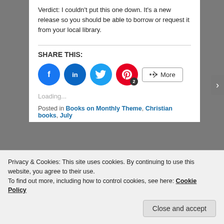Verdict:  I couldn't put this one down.  It's a new release so you should be able to borrow or request it from your local library.
SHARE THIS:
[Figure (infographic): Social sharing buttons: Facebook (blue circle), LinkedIn (dark blue circle), Twitter (light blue circle), Pinterest (red circle with badge 2), and a More button]
Loading...
Posted in Books on Monthly Theme, Christian books, July
Privacy & Cookies: This site uses cookies. By continuing to use this website, you agree to their use.
To find out more, including how to control cookies, see here: Cookie Policy